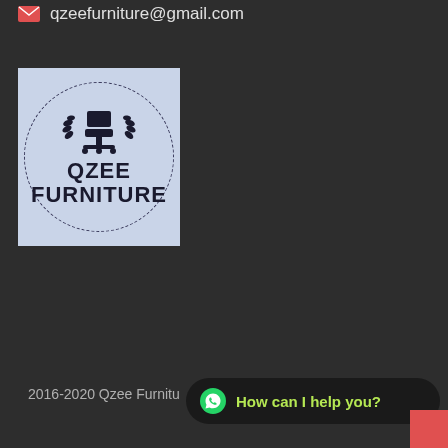qzeefurniture@gmail.com
[Figure (logo): Qzee Furniture logo: light blue square containing a circle with dashed border, office chair icon with laurel wreath, bold text QZEE FURNITURE]
2016-2020 Qzee Furniture
How can I help you?